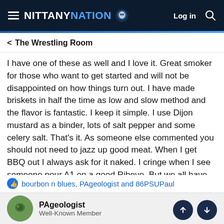NITTANY NATION — Log in
< The Wrestling Room
I have one of these as well and I love it. Great smoker for those who want to get started and will not be disappointed on how things turn out. I have made briskets in half the time as low and slow method and the flavor is fantastic. I keep it simple. I use Dijon mustard as a binder, lots of salt pepper and some celery salt. That's it. As someone else commented you should not need to jazz up good meat. When I get BBQ out I always ask for it naked. I cringe when I see someone pour A1 on a good Ribeye. But we all have our favs.
bourbon n blues, PAgeologist and 86PSUPaul
PAgeologist
Well-Known Member